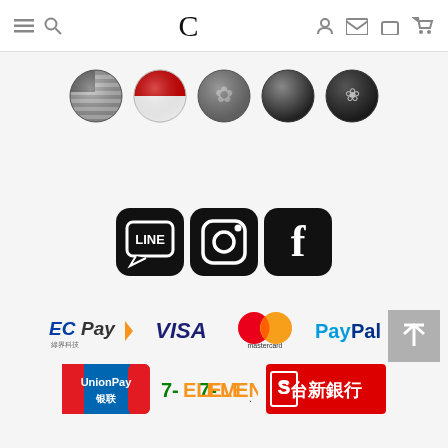[Figure (screenshot): Website header with hamburger menu, search icon, stylized C logo, user icon, and cart icon]
[Figure (illustration): Five circular flag/globe icons: US flag globe, Singapore flag globe, Hong Kong bauhinia globe, dark globe, Macau lotus globe]
[Figure (illustration): Three social media icons: LINE, Instagram, Facebook]
[Figure (logo): Payment method logos: ECPay, VISA, Mastercard, PayPal, UnionPay, 7-ELEVEN, Taishin Bank (台新銀行)]